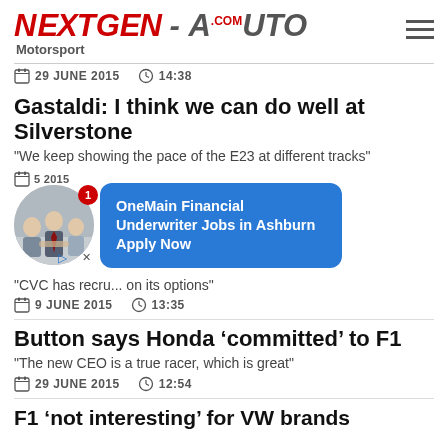NEXTGEN-AUTO.com Motorsport
29 JUNE 2015   14:38
Gastaldi: I think we can do well at Silverstone
"We keep showing the pace of the E23 at different tracks"
[Figure (screenshot): Circular thumbnail of people shaking hands with notification badge showing 1, overlaid by a blue ad bubble reading OneMain Financial Underwriter Jobs in Ashburn Apply Now, with close (x) and play icons]
"CVC has recru... on its options"
9 JUNE 2015   13:35
Button says Honda ‘committed’ to F1
"The new CEO is a true racer, which is great"
29 JUNE 2015   12:54
F1 ‘not interesting’ for VW brands